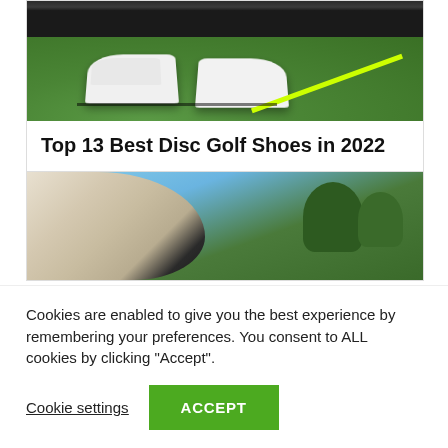[Figure (photo): Golf shoes on green grass with a yellow disc golf disc line in background]
Top 13 Best Disc Golf Shoes in 2022
[Figure (photo): Close-up of a golf glove holding a disc, with trees and blue sky in background]
Cookies are enabled to give you the best experience by remembering your preferences. You consent to ALL cookies by clicking "Accept".